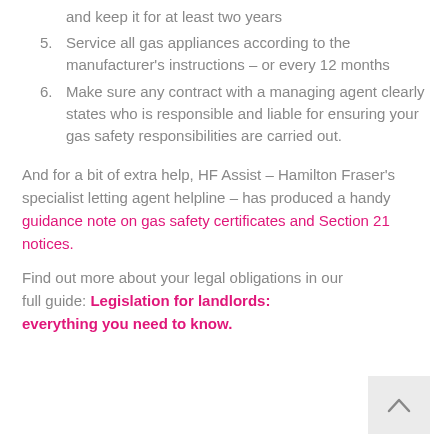and keep it for at least two years
5. Service all gas appliances according to the manufacturer's instructions – or every 12 months
6. Make sure any contract with a managing agent clearly states who is responsible and liable for ensuring your gas safety responsibilities are carried out.
And for a bit of extra help, HF Assist – Hamilton Fraser's specialist letting agent helpline – has produced a handy guidance note on gas safety certificates and Section 21 notices.
Find out more about your legal obligations in our full guide: Legislation for landlords: everything you need to know.